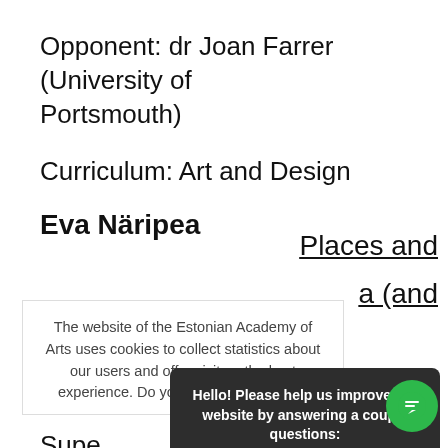Opponent: dr Joan Farrer (University of Portsmouth)
Curriculum: Art and Design
Eva Näripea
Places and
a (and
The website of the Estonian Academy of Arts uses cookies to collect statistics about our users and offer visitors the best experience. Do you agree to the use of
d ja
(ning
Hello! Please help us improve our website by answering a couple questions:
Reply
Supe
prof